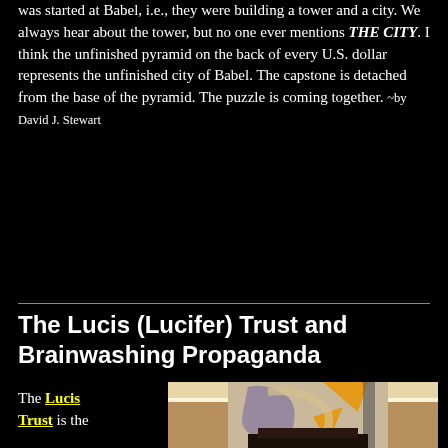was started at Babel, i.e., they were building a tower and a city. We always hear about the tower, but no one ever mentions THE CITY. I think the unfinished pyramid on the back of every U.S. dollar represents the unfinished city of Babel. The capstone is detached from the base of the pyramid. The puzzle is coming together. ~by David J. Stewart
The Lucis (Lucifer) Trust and Brainwashing Propaganda
The Lucis Trust is the
[Figure (photo): Interior room photo showing a geometric abstract artwork on the wall with triangular and curved shapes in orange/gold, purple and beige tones. A white ceiling with indirect lighting is visible above a dark wooden piece of furniture or altar in the foreground.]